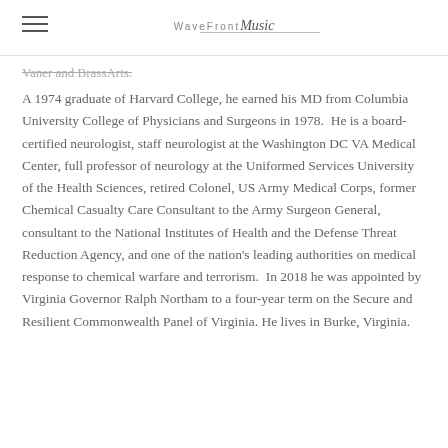WaveFront Music
Vaner and BrassArts.
A 1974 graduate of Harvard College, he earned his MD from Columbia University College of Physicians and Surgeons in 1978.  He is a board-certified neurologist, staff neurologist at the Washington DC VA Medical Center, full professor of neurology at the Uniformed Services University of the Health Sciences, retired Colonel, US Army Medical Corps, former Chemical Casualty Care Consultant to the Army Surgeon General, consultant to the National Institutes of Health and the Defense Threat Reduction Agency, and one of the nation's leading authorities on medical response to chemical warfare and terrorism.  In 2018 he was appointed by Virginia Governor Ralph Northam to a four-year term on the Secure and Resilient Commonwealth Panel of Virginia. He lives in Burke, Virginia.